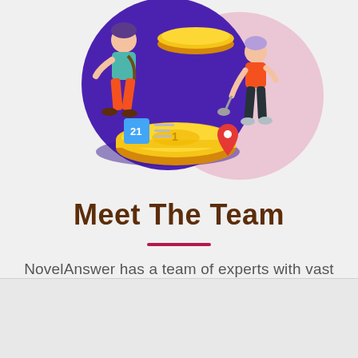[Figure (illustration): Colorful flat illustration showing two cartoon figures and large gold coins on a deep purple circular background with a pink circle behind it. A small calendar icon with '21' and a location pin icon are also visible.]
Meet The Team
NovelAnswer has a team of experts with vast